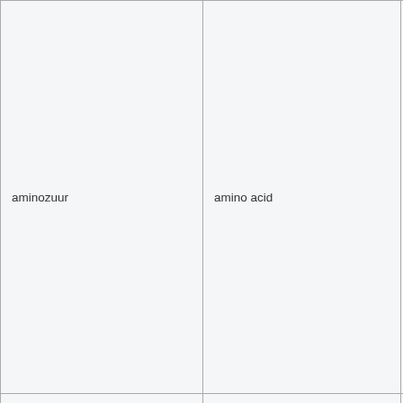| aminozuur | amino acid | k
c
p
a
to
b
s
th
le
tr
a
c
s
a
a
A |
| ammoniak | ammonia | A
th
c
th |